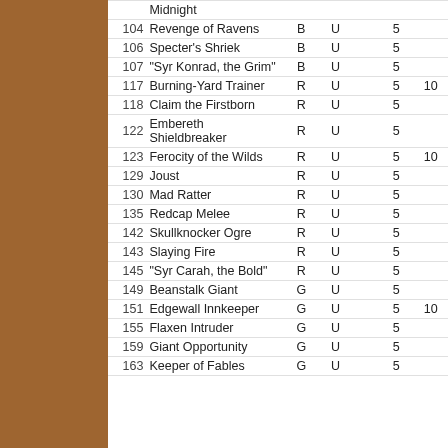| # | Name | Color | Rarity |  | Qty | Qty2 |
| --- | --- | --- | --- | --- | --- | --- |
|  | Midnight |  |  |  |  |  |
| 104 | Revenge of Ravens | B | U |  | 5 |  |
| 106 | Specter's Shriek | B | U |  | 5 |  |
| 107 | "Syr Konrad, the Grim" | B | U |  | 5 |  |
| 117 | Burning-Yard Trainer | R | U |  | 5 | 10 |
| 118 | Claim the Firstborn | R | U |  | 5 |  |
| 122 | Embereth Shieldbreaker | R | U |  | 5 |  |
| 123 | Ferocity of the Wilds | R | U |  | 5 | 10 |
| 129 | Joust | R | U |  | 5 |  |
| 130 | Mad Ratter | R | U |  | 5 |  |
| 135 | Redcap Melee | R | U |  | 5 |  |
| 142 | Skullknocker Ogre | R | U |  | 5 |  |
| 143 | Slaying Fire | R | U |  | 5 |  |
| 145 | "Syr Carah, the Bold" | R | U |  | 5 |  |
| 149 | Beanstalk Giant | G | U |  | 5 |  |
| 151 | Edgewall Innkeeper | G | U |  | 5 | 10 |
| 155 | Flaxen Intruder | G | U |  | 5 |  |
| 159 | Giant Opportunity | G | U |  | 5 |  |
| 163 | Keeper of Fables | G | U |  | 5 |  |